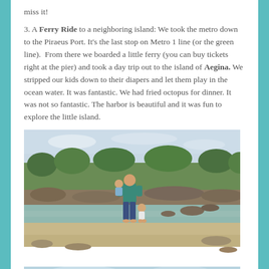miss it!
3. A Ferry Ride to a neighboring island: We took the metro down to the Piraeus Port. It's the last stop on Metro 1 line (or the green line).  From there we boarded a little ferry (you can buy tickets right at the pier) and took a day trip out to the island of Aegina. We stripped our kids down to their diapers and let them play in the ocean water. It was fantastic. We had fried octopus for dinner. It was not so fantastic. The harbor is beautiful and it was fun to explore the little island.
[Figure (photo): A man holding a baby standing barefoot in shallow ocean water at the shore of Aegina island, with rocky coastline and green hills in background]
[Figure (photo): Partial view of another beach or water scene, cropped at bottom of page]